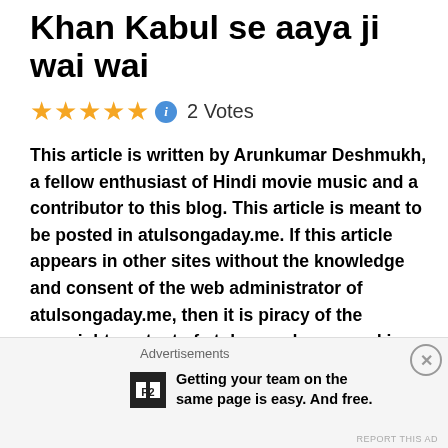Khan Kabul se aaya ji wai wai
★★★★★ ℹ 2 Votes
This article is written by Arunkumar Deshmukh, a fellow enthusiast of Hindi movie music and a contributor to this blog. This article is meant to be posted in atulsongaday.me. If this article appears in other sites without the knowledge and consent of the web administrator of atulsongaday.me, then it is piracy of the copyright content of atulsongaday.me and is a punishable offence under the existing laws.
Blog Day   3931   Post No.   15003
Advertisements  Getting your team on the same page is easy. And free.